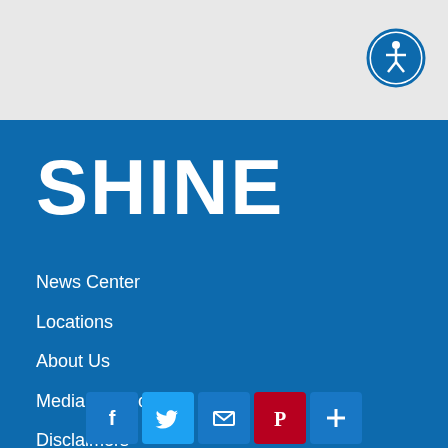[Figure (logo): Accessibility icon - circle with person figure in white on blue background]
SHINE
News Center
Locations
About Us
Media Contacts
Disclaimers
[Figure (infographic): Social media icons row: Facebook (blue), Twitter (blue), Email (blue), Pinterest (red), Share/Plus (blue)]